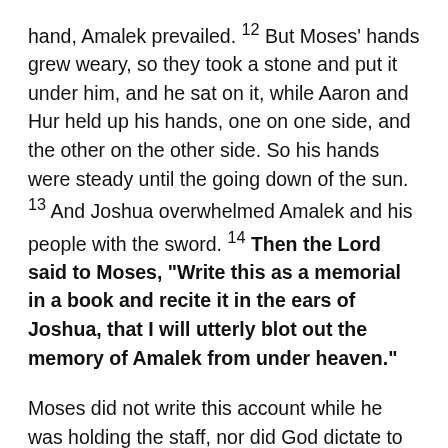hand, Amalek prevailed. 12 But Moses' hands grew weary, so they took a stone and put it under him, and he sat on it, while Aaron and Hur held up his hands, one on one side, and the other on the other side. So his hands were steady until the going down of the sun. 13 And Joshua overwhelmed Amalek and his people with the sword. 14 Then the Lord said to Moses, "Write this as a memorial in a book and recite it in the ears of Joshua, that I will utterly blot out the memory of Amalek from under heaven."
Moses did not write this account while he was holding the staff, nor did God dictate to him what to write after the battle. Moses wrote from his memory. Human writing in human words, in